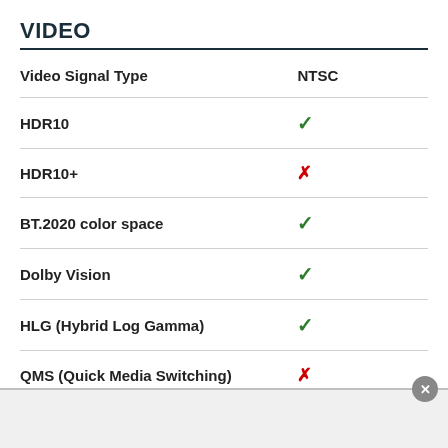VIDEO
| Feature | Value |
| --- | --- |
| Video Signal Type | NTSC |
| HDR10 | ✓ |
| HDR10+ | ✗ |
| BT.2020 color space | ✓ |
| Dolby Vision | ✓ |
| HLG (Hybrid Log Gamma) | ✓ |
| QMS (Quick Media Switching) | ✗ |
| ALLM (Auto Low Latency Mode) | ✗ |